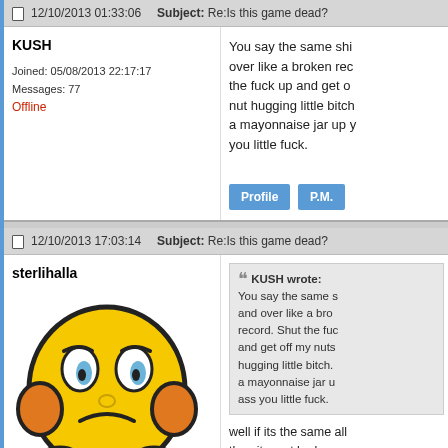12/10/2013 01:33:06   Subject: Re:Is this game dead?
KUSH
Joined: 05/08/2013 22:17:17
Messages: 77
Offline
You say the same shi over like a broken rec the fuck up and get o nut hugging little bitch a mayonnaise jar up y you little fuck.
12/10/2013 17:03:14   Subject: Re:Is this game dead?
sterlihalla
[Figure (illustration): Sad yellow smiley face emoji with orange ears, blue hands, frowning expression]
KUSH wrote:
You say the same s and over like a bro record. Shut the fuc and get off my nuts hugging little bitch. a mayonnaise jar u ass you little fuck.

well if its the same all then it must be becau keep being a noob yo